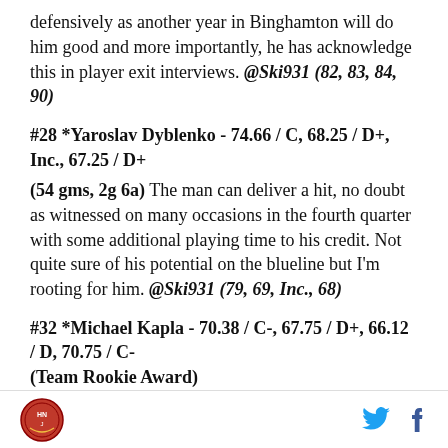defensively as another year in Binghamton will do him good and more importantly, he has acknowledge this in player exit interviews. @Ski931 (82, 83, 84, 90)
#28 *Yaroslav Dyblenko - 74.66 / C, 68.25 / D+, Inc., 67.25 / D+
(54 gms, 2g 6a) The man can deliver a hit, no doubt as witnessed on many occasions in the fourth quarter with some additional playing time to his credit. Not quite sure of his potential on the blueline but I'm rooting for him. @Ski931 (79, 69, Inc., 68)
#32 *Michael Kapla - 70.38 / C-, 67.75 / D+, 66.12 / D, 70.75 / C- (Team Rookie Award)
(63 gms, 5g 16a) Kapla ends his rookie season with the Rookie of the Year award for the BingDevils! I've